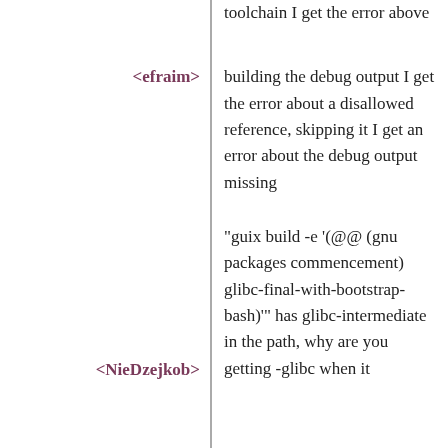toolchain I get the error above
<efraim>
building the debug output I get the error about a disallowed reference, skipping it I get an error about the debug output missing
<NieDzejkob>
"guix build -e '(@@ (gnu packages commencement) glibc-final-with-bootstrap-bash)'" has glibc-intermediate in the path, why are you getting -glibc when it